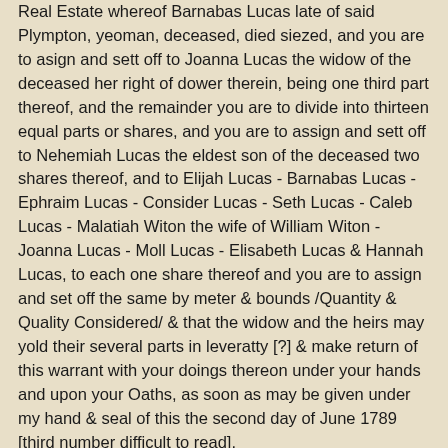Real Estate whereof Barnabas Lucas late of said Plympton, yeoman, deceased, died siezed, and you are to asign and sett off to Joanna Lucas the widow of the deceased her right of dower therein, being one third part thereof, and the remainder you are to divide into thirteen equal parts or shares, and you are to assign and sett off to Nehemiah Lucas the eldest son of the deceased two shares thereof, and to Elijah Lucas - Barnabas Lucas - Ephraim Lucas - Consider Lucas - Seth Lucas - Caleb Lucas - Malatiah Witon the wife of William Witon - Joanna Lucas - Moll Lucas - Elisabeth Lucas & Hannah Lucas, to each one share thereof and you are to assign and set off the same by meter & bounds /Quantity & Quality Considered/ & that the widow and the heirs may yold their several parts in leveratty [?] & make return of this warrant with your doings thereon under your hands and upon your Oaths, as soon as may be given under my hand & seal of this the second day of June 1789 [third number difficult to read].
Jos. Cushing Judge Prob."
"Pursuant to a warrant to us the Subscribers directed by the Hon. Joseph Cushing Esqr, Judge of Probate of Wills for the